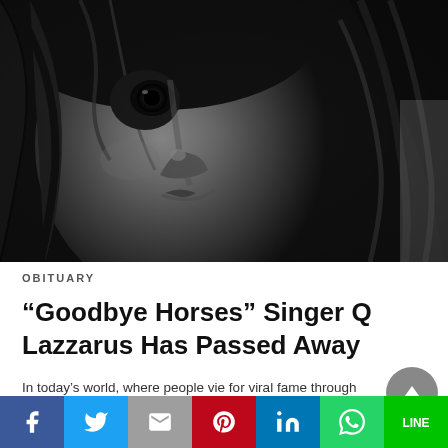[Figure (photo): Black and white close-up of a person's face, dark hair partially covering the face, moody artistic photograph]
OBITUARY
“Goodbye Horses” Singer Q Lazzarus Has Passed Away
In today’s world, where people vie for viral fame through social media platforms and tired…